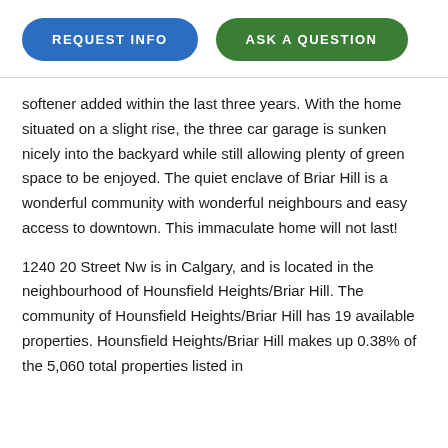[Figure (other): Two buttons: 'REQUEST INFO' (blue, pill-shaped) and 'ASK A QUESTION' (green, pill-shaped)]
softener added within the last three years. With the home situated on a slight rise, the three car garage is sunken nicely into the backyard while still allowing plenty of green space to be enjoyed. The quiet enclave of Briar Hill is a wonderful community with wonderful neighbours and easy access to downtown. This immaculate home will not last!
1240 20 Street Nw is in Calgary, and is located in the neighbourhood of Hounsfield Heights/Briar Hill. The community of Hounsfield Heights/Briar Hill has 19 available properties. Hounsfield Heights/Briar Hill makes up 0.38% of the 5,060 total properties listed in